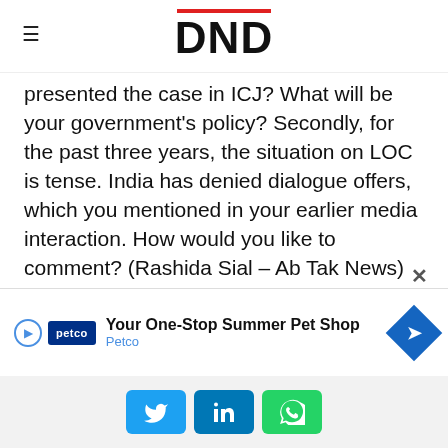DND
presented the case in ICJ? What will be your government's policy? Secondly, for the past three years, the situation on LOC is tense. India has denied dialogue offers, which you mentioned in your earlier media interaction. How would you like to comment? (Rashida Sial – Ab Tak News)
Answer:
I have not said that we will win the Commander Jadhav case, rather I had said that we will try our best to
[Figure (screenshot): Petco advertisement banner: Your One-Stop Summer Pet Shop, Petco]
Social share buttons: Twitter, LinkedIn, WhatsApp